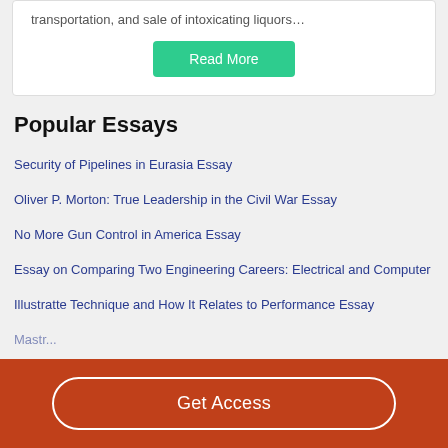transportation, and sale of intoxicating liquors…
Read More
Popular Essays
Security of Pipelines in Eurasia Essay
Oliver P. Morton: True Leadership in the Civil War Essay
No More Gun Control in America Essay
Essay on Comparing Two Engineering Careers: Electrical and Computer
Illustratte Technique and How It Relates to Performance Essay
Get Access